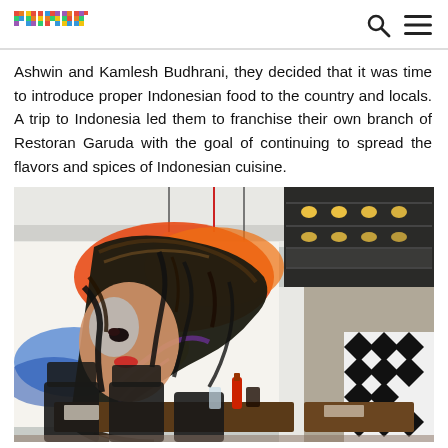primer
Ashwin and Kamlesh Budhrani, they decided that it was time to introduce proper Indonesian food to the country and locals. A trip to Indonesia led them to franchise their own branch of Restoran Garuda with the goal of continuing to spread the flavors and spices of Indonesian cuisine.
[Figure (photo): Interior of Restoran Garuda showing a large colorful mural of a woman with flowing hair on the wall, restaurant seating with black leather chairs and wooden tables, pendant lights hanging from the ceiling, and a black shelving unit with lights on the right side.]